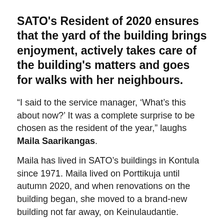SATO's Resident of 2020 ensures that the yard of the building brings enjoyment, actively takes care of the building's matters and goes for walks with her neighbours.
“I said to the service manager, ‘What’s this about now?’ It was a complete surprise to be chosen as the resident of the year,” laughs Maila Saarikangas.
Maila has lived in SATO’s buildings in Kontula since 1971. Maila lived on Porttikuja until autumn 2020, and when renovations on the building began, she moved to a brand-new building not far away, on Keinulaudantie.
“Moving out of my familiar building was quite difficult,” says Maila. “I went for a walk in the neighbourhood and noticed that SATO was building new apartments on Keinulaudantie. So I asked about the possibility of moving into a new rental apartment there once the building is